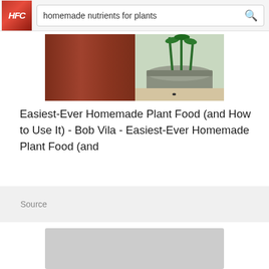homemade nutrients for plants
[Figure (photo): Partial view of potted plants with a terracotta pot and dark fabric pot with plant seedlings]
Easiest-Ever Homemade Plant Food (and How to Use It) - Bob Vila - Easiest-Ever Homemade Plant Food (and
Source
[Figure (photo): Gray placeholder image for a second result]